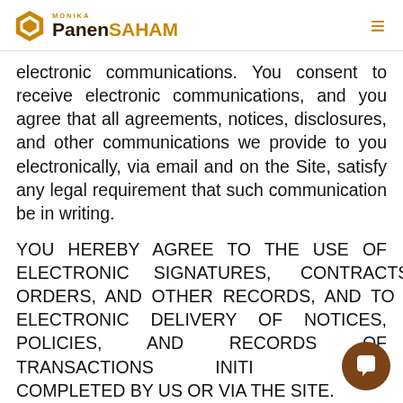MONIKA PanenSAHAM
electronic communications. You consent to receive electronic communications, and you agree that all agreements, notices, disclosures, and other communications we provide to you electronically, via email and on the Site, satisfy any legal requirement that such communication be in writing.
YOU HEREBY AGREE TO THE USE OF ELECTRONIC SIGNATURES, CONTRACTS, ORDERS, AND OTHER RECORDS, AND TO ELECTRONIC DELIVERY OF NOTICES, POLICIES, AND RECORDS OF TRANSACTIONS INITIATED OR COMPLETED BY US OR VIA THE SITE.